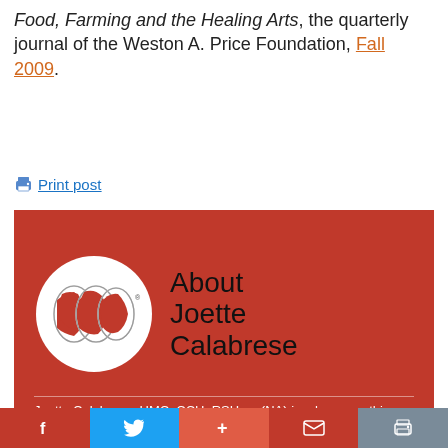Food, Farming and the Healing Arts, the quarterly journal of the Weston A. Price Foundation, Fall 2009.
🖨 Print post
[Figure (infographic): Red banner box with globe logo and 'About Joette Calabrese' heading, followed by bio text on red background: Joette Calabrese, HMC, CCH, RSHom (NA) is a homeopathic consultant and educator. She is on staff at the British Institute of Homeopathy,]
f  [Twitter bird]  +  [mail]  [print]